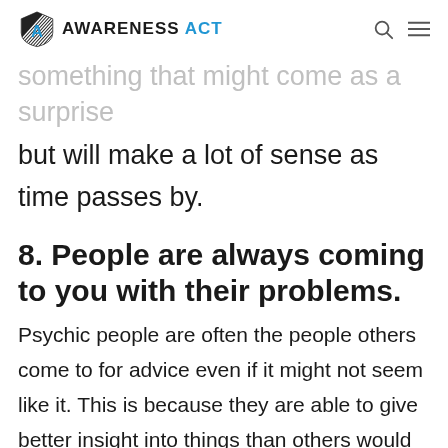AWARENESS ACT
something that might come as a surprise
but will make a lot of sense as time passes by.
8. People are always coming to you with their problems.
Psychic people are often the people others come to for advice even if it might not seem like it. This is because they are able to give better insight into things than others would be. They face the issue from a different mindset.